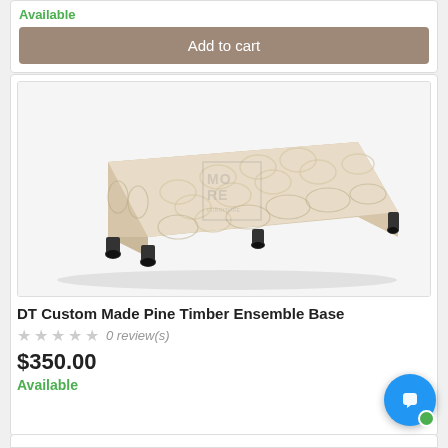Available
Add to cart
[Figure (photo): Photo of a DT Custom Made Pine Timber Ensemble Base bed base with cream/beige floral fabric, low profile, black feet, on white background. MORE FURNITURE watermark visible.]
DT Custom Made Pine Timber Ensemble Base
★★★★★ 0 review(s)
$350.00
Available